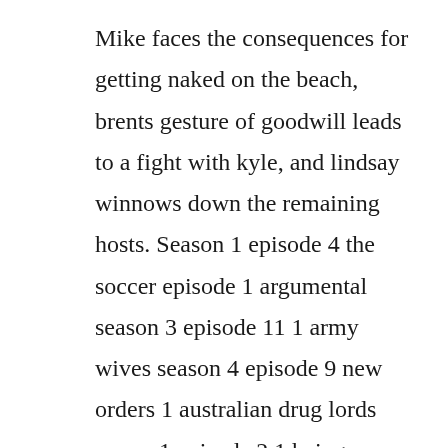Mike faces the consequences for getting naked on the beach, brents gesture of goodwill leads to a fight with kyle, and lindsay winnows down the remaining hosts. Season 1 episode 4 the soccer episode 1 argumental season 3 episode 11 1 army wives season 4 episode 9 new orders 1 australian drug lords season1 episode 2 1 being ndubz season 1 episode 3 1 bethenny getting married season 1 episode 4 let me eat cake 1 bethenny getting married. Get exclusive videos, pictures, bios and check out more of your favorite moments from seasons past. The